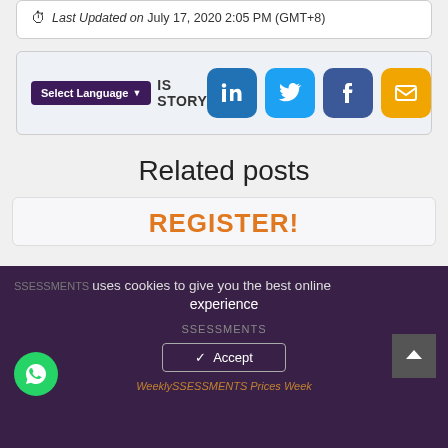Last Updated on July 17, 2020 2:05 PM (GMT+8)
SHARE THIS STORY
[Figure (infographic): Social share icons: LinkedIn, Twitter, Facebook, Email]
Related posts
REGISTER!
SSESSMENTS uses cookies to give you the best online experience
Accept
WeeklySSESSMENTS Prices Week